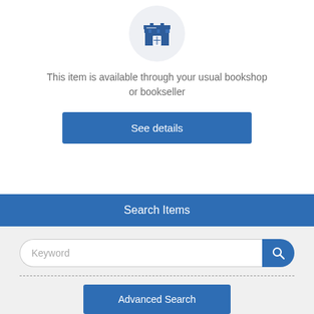[Figure (illustration): Bookshop/store icon inside a light grey circle]
This item is available through your usual bookshop or bookseller
See details
Search Items
Keyword
Advanced Search